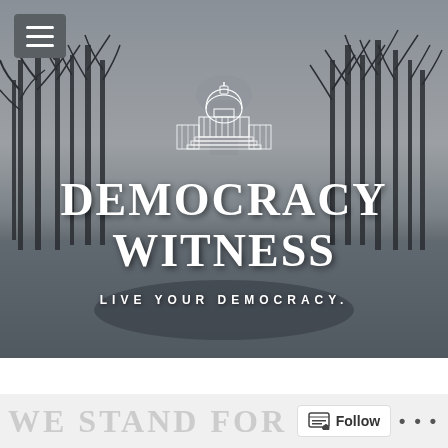[Figure (photo): Black and white photo of the US Capitol building in winter with bare trees and a reflective pool, overlaid with the Democracy Witness logo and text]
DEMOCRACY WITNESS
LIVE YOUR DEMOCRACY.
WE STAND FOR E...
Follow ...